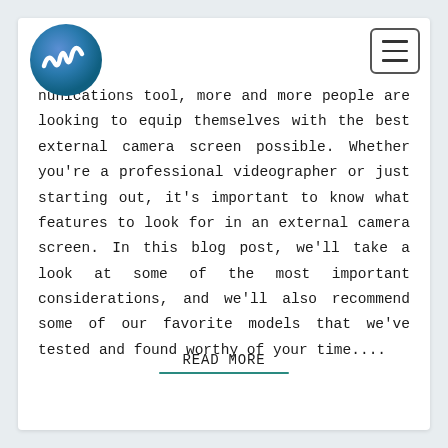[Figure (logo): Round gradient blue-teal logo with white stylized 'wl' or wave letters]
[Figure (other): Hamburger menu button: three horizontal lines inside a rounded rectangle border]
nunications tool, more and more people are looking to equip themselves with the best external camera screen possible. Whether you're a professional videographer or just starting out, it's important to know what features to look for in an external camera screen. In this blog post, we'll take a look at some of the most important considerations, and we'll also recommend some of our favorite models that we've tested and found worthy of your time....
READ MORE